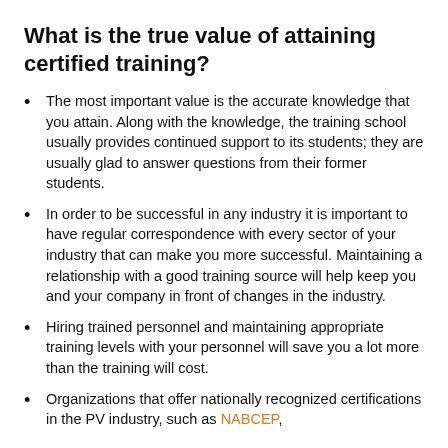What is the true value of attaining certified training?
The most important value is the accurate knowledge that you attain. Along with the knowledge, the training school usually provides continued support to its students; they are usually glad to answer questions from their former students.
In order to be successful in any industry it is important to have regular correspondence with every sector of your industry that can make you more successful. Maintaining a relationship with a good training source will help keep you and your company in front of changes in the industry.
Hiring trained personnel and maintaining appropriate training levels with your personnel will save you a lot more than the training will cost.
Organizations that offer nationally recognized certifications in the PV industry, such as NABCEP,